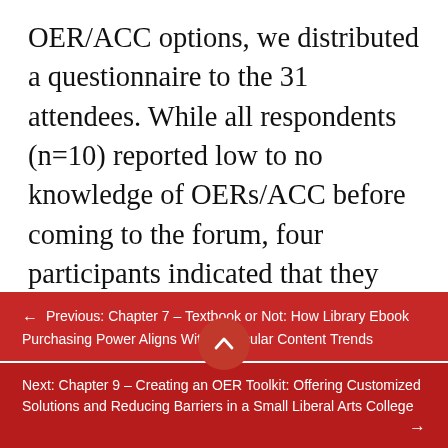OER/ACC options, we distributed a questionnaire to the 31 attendees. While all respondents (n=10) reported low to no knowledge of OERs/ACC before coming to the forum, four participants indicated that they had a high interest in using affordable course content after the presentation and two expressed a moderate interest. When asked about the obstacles hindering them from using OERs/ACC, the two most common themes were a lack of knowledge about how to find
← Previous: Chapter 7 – Textbook or Not: How Library Ebook Purchasing Power Aligns With Curricular Content Trends
Next: Chapter 9 – Creating an OER Toolkit: Offering Customized Solutions and Reducing Barriers in a Small Liberal Arts College →